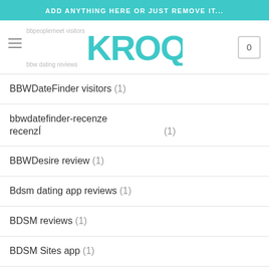ADD ANYTHING HERE OR JUST REMOVE IT...
[Figure (logo): KROQ logo in teal color with hamburger menu and shopping cart]
BBWDateFinder visitors (1)
bbwdatefinder-recenze recenzÍ (1)
BBWDesire review (1)
Bdsm dating app reviews (1)
BDSM reviews (1)
BDSM Sites app (1)
BDSM visitors (1)
be2 visitors (1)